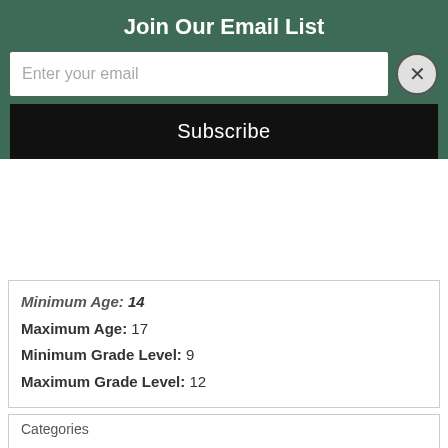Join Our Email List
Enter your email
Subscribe
Minimum Age: 14
Maximum Age: 17
Minimum Grade Level: 9
Maximum Grade Level: 12
Categories
Juvenile Fiction / Fantasy & Magic
Juvenile Fiction / Fairy Tales & Folklore / Adaptations
Juvenile Fiction / Love & Romance
Related Editions (all)